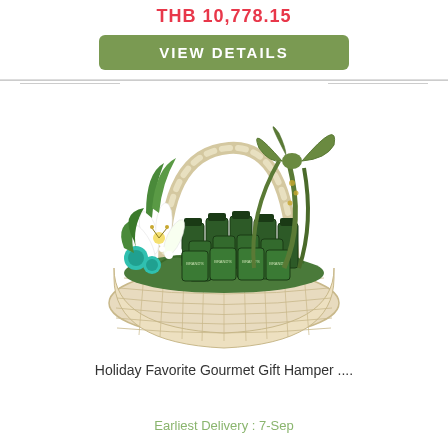THB 10,778.15
VIEW DETAILS
[Figure (photo): A gift hamper basket filled with green BRAND's bottles, decorated with white and teal flowers and green ribbon bow]
Holiday Favorite Gourmet Gift Hamper ....
Earliest Delivery : 7-Sep